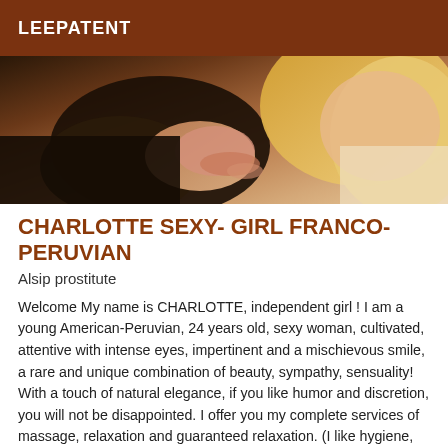LEEPATENT
[Figure (photo): Close-up photo of a blonde woman being touched on the shoulder by a person in a black outfit]
CHARLOTTE SEXY- GIRL FRANCO-PERUVIAN
Alsip prostitute
Welcome My name is CHARLOTTE, independent girl ! I am a young American-Peruvian, 24 years old, sexy woman, cultivated, attentive with intense eyes, impertinent and a mischievous smile, a rare and unique combination of beauty, sympathy, sensuality! With a touch of natural elegance, if you like humor and discretion, you will not be disappointed. I offer you my complete services of massage, relaxation and guaranteed relaxation. (I like hygiene, and ask the same thing for my client ... / Please call me to explain my services and rates as well as possible! Thank you! I look